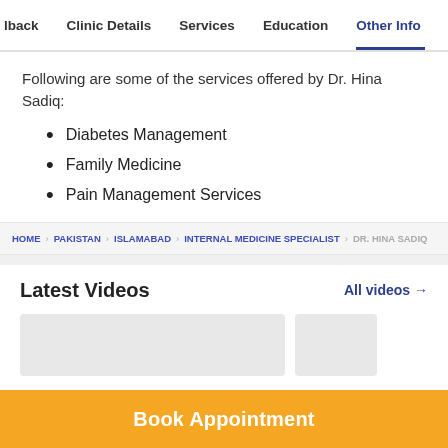back | Clinic Details | Services | Education | Other Info
Following are some of the services offered by Dr. Hina Sadiq:
Diabetes Management
Family Medicine
Pain Management Services
HOME > PAKISTAN > ISLAMABAD > INTERNAL MEDICINE SPECIALIST > DR. HINA SADIQ
Latest Videos
All videos →
[Figure (other): Two video thumbnail placeholders (grey rectangles)]
Book Appointment